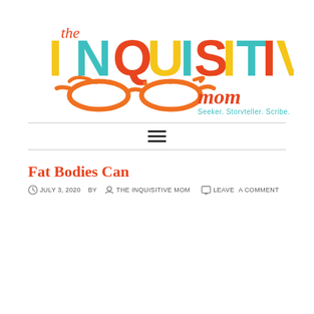[Figure (logo): The Inquisitive Mom logo with colorful bold letters, orange cat-eye glasses illustration, and tagline 'Seeker. Storyteller. Scribe.']
Fat Bodies Can
JULY 3, 2020  BY  THE INQUISITIVE MOM  LEAVE A COMMENT